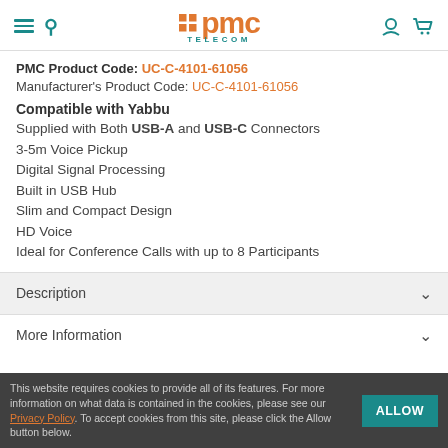PMC Telecom
PMC Product Code: UC-C-4101-61056
Manufacturer's Product Code: UC-C-4101-61056
Compatible with Yabbu
Supplied with Both USB-A and USB-C Connectors
3-5m Voice Pickup
Digital Signal Processing
Built in USB Hub
Slim and Compact Design
HD Voice
Ideal for Conference Calls with up to 8 Participants
Description
More Information
This website requires cookies to provide all of its features. For more information on what data is contained in the cookies, please see our Privacy Policy. To accept cookies from this site, please click the Allow button below.